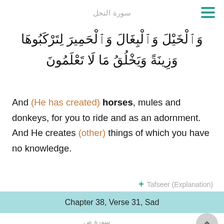سورة النحل
وَٱلْخَيْلَ وَٱلْبِغَالَ وَٱلْحَمِيرَ لِتَرْكَبُوهَا وَزِينَةً وَيَخْلُقُ مَا لَا تَعْلَمُونَ
And (He has created) horses, mules and donkeys, for you to ride and as an adornment. And He creates (other) things of which you have no knowledge.
+ Tafseer (Explanation)
Chapter 38, Verse 31, Sad
سورة ص
إِذْ عُرِضَ عَلَيْهِ بِٱلْعَشِيِّ ٱلصَّٰفِنَٰتُ ٱلْجِيَادُ
When there were displayed before him, in the afternoon, well